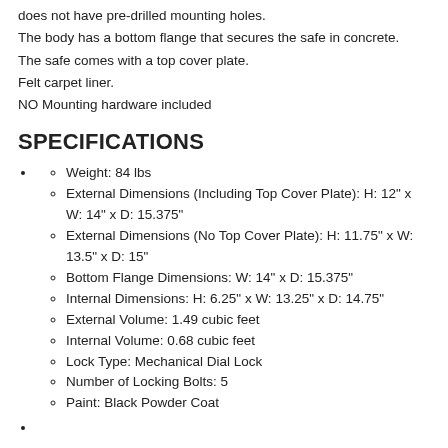does not have pre-drilled mounting holes.
The body has a bottom flange that secures the safe in concrete.
The safe comes with a top cover plate.
Felt carpet liner.
NO Mounting hardware included
SPECIFICATIONS
Weight: 84 lbs
External Dimensions (Including Top Cover Plate): H: 12" x W: 14" x D: 15.375"
External Dimensions (No Top Cover Plate): H: 11.75" x W: 13.5" x D: 15"
Bottom Flange Dimensions: W: 14" x D: 15.375"
Internal Dimensions: H: 6.25" x W: 13.25" x D: 14.75"
External Volume: 1.49 cubic feet
Internal Volume: 0.68 cubic feet
Lock Type: Mechanical Dial Lock
Number of Locking Bolts: 5
Paint: Black Powder Coat